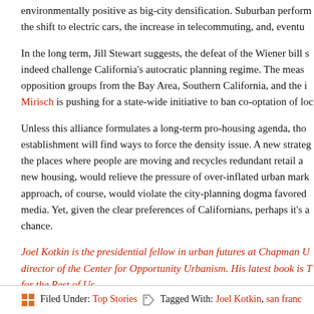environmentally positive as big-city densification. Suburban perform the shift to electric cars, the increase in telecommuting, and, eventu
In the long term, Jill Stewart suggests, the defeat of the Wiener bill s indeed challenge California's autocratic planning regime. The meas opposition groups from the Bay Area, Southern California, and the i Mirisch is pushing for a state-wide initiative to ban co-optation of loc
Unless this alliance formulates a long-term pro-housing agenda, tho establishment will find ways to force the density issue. A new strateg the places where people are moving and recycles redundant retail a new housing, would relieve the pressure of over-inflated urban mark approach, of course, would violate the city-planning dogma favored media. Yet, given the clear preferences of Californians, perhaps it's a chance.
Joel Kotkin is the presidential fellow in urban futures at Chapman U director of the Center for Opportunity Urbanism. His latest book is T for the Rest of Us.
This article was originally published by City Journal Online
Filed Under: Top Stories  Tagged With: Joel Kotkin, san franc